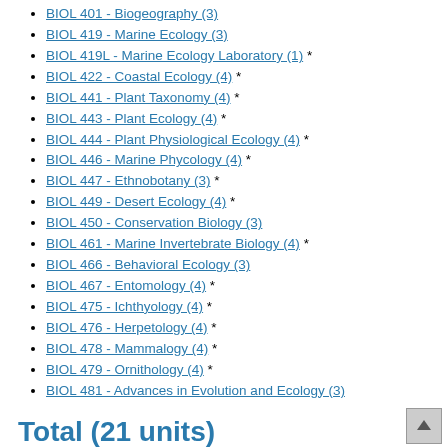BIOL 401 - Biogeography (3)
BIOL 419 - Marine Ecology (3)
BIOL 419L - Marine Ecology Laboratory (1) *
BIOL 422 - Coastal Ecology (4) *
BIOL 441 - Plant Taxonomy (4) *
BIOL 443 - Plant Ecology (4) *
BIOL 444 - Plant Physiological Ecology (4) *
BIOL 446 - Marine Phycology (4) *
BIOL 447 - Ethnobotany (3) *
BIOL 449 - Desert Ecology (4) *
BIOL 450 - Conservation Biology (3)
BIOL 461 - Marine Invertebrate Biology (4) *
BIOL 466 - Behavioral Ecology (3)
BIOL 467 - Entomology (4) *
BIOL 475 - Ichthyology (4) *
BIOL 476 - Herpetology (4) *
BIOL 478 - Mammalogy (4) *
BIOL 479 - Ornithology (4) *
BIOL 481 - Advances in Evolution and Ecology (3)
Total (21 units)